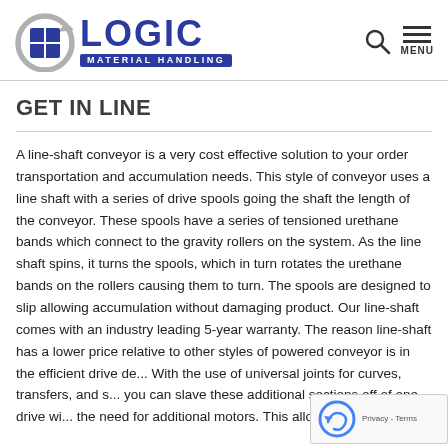[Figure (logo): Logic Material Handling company logo with circular arrow icon and blue grid square]
GET IN LINE
A line-shaft conveyor is a very cost effective solution to your order transportation and accumulation needs. This style of conveyor uses a line shaft with a series of drive spools going the shaft the length of the conveyor. These spools have a series of tensioned urethane bands which connect to the gravity rollers on the system. As the line shaft spins, it turns the spools, which in turn rotates the urethane bands on the rollers causing them to turn. The spools are designed to slip allowing accumulation without damaging product. Our line-shaft comes with an industry leading 5-year warranty. The reason line-shaft has a lower price relative to other styles of powered conveyor is in the efficient drive de... With the use of universal joints for curves, transfers, and s... you can slave these additional sections off of one drive wi... the need for additional motors. This allows for complex